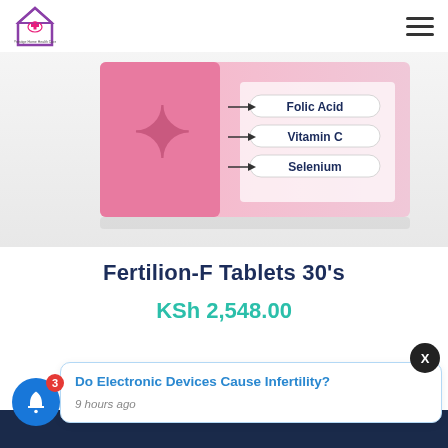[Figure (logo): House-shaped medical logo with cross and hands icon in purple/magenta, with small text below]
[Figure (photo): Pink pharmaceutical product box showing Fertilion-F Tablets with arrows pointing to Folic Acid, Vitamin C, and Selenium ingredients]
Fertilion-F Tablets 30’s
KSh 2,548.00
Do Electronic Devices Cause Infertility?
9 hours ago